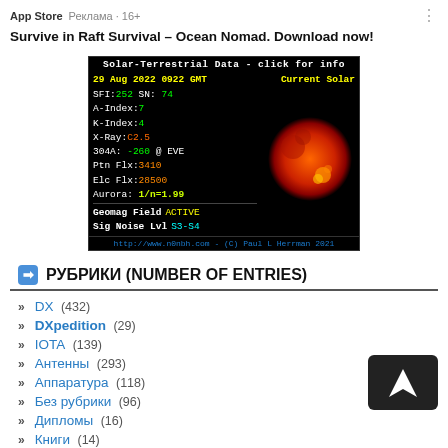App Store  Реклама · 16+
Survive in Raft Survival – Ocean Nomad. Download now!
[Figure (screenshot): Solar-Terrestrial Data widget showing SFI:252, SN:74, A-Index:7, K-Index:4, X-Ray:C2.5, 304A:-260 @ EVE, Ptn Flx:3410, Elc Flx:28500, Aurora:1/n=1.99, Geomag Field ACTIVE, Sig Noise Lvl S3-S4, with a red solar image and copyright http://www.n0nbh.com - (C) Paul L Herrman 2021]
РУБРИКИ (NUMBER OF ENTRIES)
DX (432)
DXpedition (29)
IOTA (139)
Антенны (293)
Аппаратура (118)
Без рубрики (96)
Дипломы (16)
Книги (14)